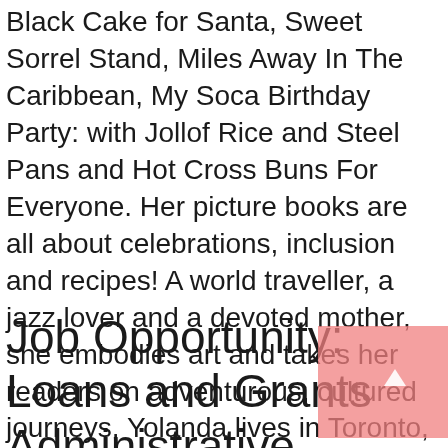Black Cake for Santa, Sweet Sorrel Stand, Miles Away In The Caribbean, My Soca Birthday Party: with Jollof Rice and Steel Pans and Hot Cross Buns For Everyone. Her picture books are all about celebrations, inclusion and recipes! A world traveller, a jazz lover and a devoted mother, she embodies art and takes her readers on adventurous, cultured journeys. Yolanda lives in Toronto, Canada with her family.
Job Opportunity: Loans and Grants Administrative Assistant (Position Filled)